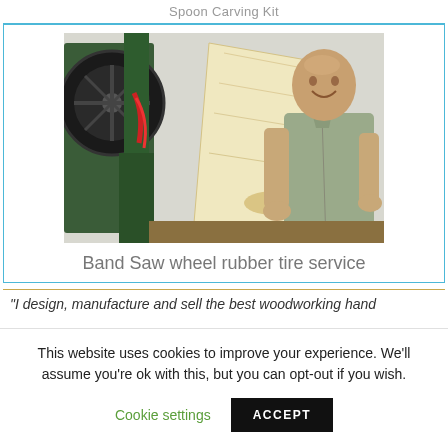Spoon Carving Kit
[Figure (photo): A man smiling and holding a large piece of light-colored wood near a green band saw machine in a workshop.]
Band Saw wheel rubber tire service
"I design, manufacture and sell the best woodworking hand
This website uses cookies to improve your experience. We'll assume you're ok with this, but you can opt-out if you wish.
Cookie settings    ACCEPT